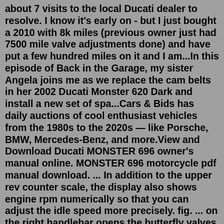about 7 visits to the local Ducati dealer to resolve. I know it's early on - but I just bought a 2010 with 8k miles (previous owner just had 7500 mile valve adjustments done) and have put a few hundred miles on it and I am...In this episode of Back in the Garage, my sister Angela joins me as we replace the cam belts in her 2002 Ducati Monster 620 Dark and install a new set of spa...Cars & Bids has daily auctions of cool enthusiast vehicles from the 1980s to the 2020s — like Porsche, BMW, Mercedes-Benz, and more.View and Download Ducati MONSTER 696 owner's manual online. MONSTER 696 motorcycle pdf manual download. ... In addition to the upper rev counter scale, the display also shows engine rpm numerically so that you can adjust the idle speed more precisely. fig. ... on the right handlebar opens the butterfly valves in the throttle body. When released ...View and Download Ducati Monster 696 2009 manual online. Page 8 General summary 4.1 - Cylinder head assemblies: checks and adjustments Checking and adjusting valve clearances. Checking the engine...